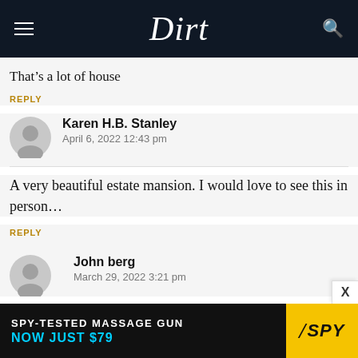Dirt
That’s a lot of house
REPLY
Karen H.B. Stanley
April 6, 2022 12:43 pm
A very beautiful estate mansion. I would love to see this in person…
REPLY
John berg
March 29, 2022 3:21 pm
[Figure (other): SPY-TESTED MASSAGE GUN advertisement banner: NOW JUST $79, with SPY logo on yellow background]